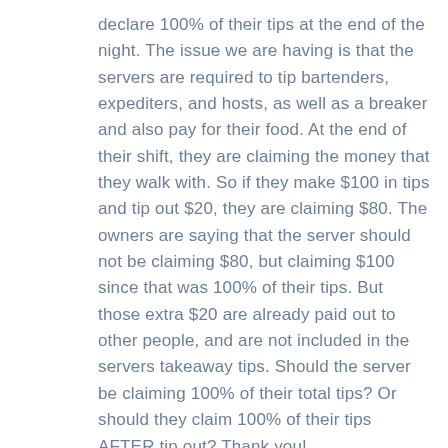declare 100% of their tips at the end of the night. The issue we are having is that the servers are required to tip bartenders, expediters, and hosts, as well as a breaker and also pay for their food. At the end of their shift, they are claiming the money that they walk with. So if they make $100 in tips and tip out $20, they are claiming $80. The owners are saying that the server should not be claiming $80, but claiming $100 since that was 100% of their tips. But those extra $20 are already paid out to other people, and are not included in the servers takeaway tips. Should the server be claiming 100% of their total tips? Or should they claim 100% of their tips AFTER tip out? Thank you!